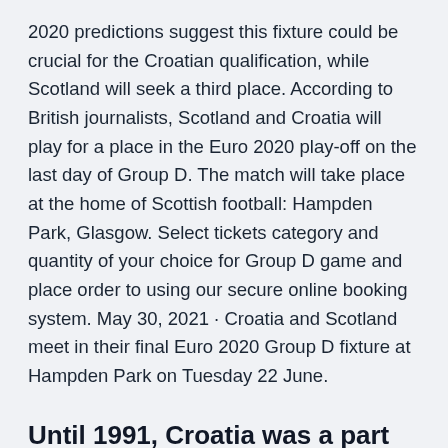2020 predictions suggest this fixture could be crucial for the Croatian qualification, while Scotland will seek a third place. According to British journalists, Scotland and Croatia will play for a place in the Euro 2020 play-off on the last day of Group D. The match will take place at the home of Scottish football: Hampden Park, Glasgow. Select tickets category and quantity of your choice for Group D game and place order to using our secure online booking system. May 30, 2021 · Croatia and Scotland meet in their final Euro 2020 Group D fixture at Hampden Park on Tuesday 22 June.
Until 1991, Croatia was a part of Yugoslavia, and while it was never as isolated as other Eastern Bloc